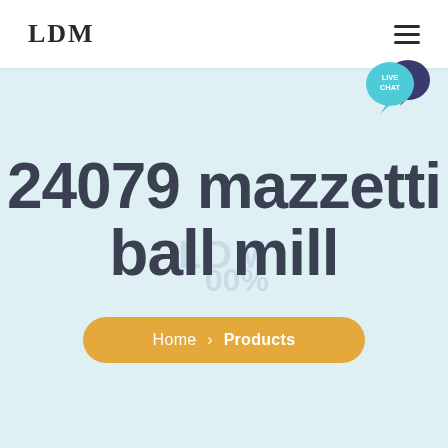LDM
[Figure (logo): LDM logo text in serif bold font on left; hamburger menu icon on right; live chat speech bubble icon top right]
24079 mazzetti ball mill
Home > Products